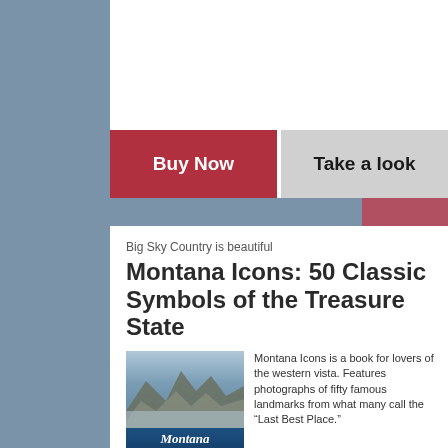[Figure (screenshot): Buy Now button (red) and Take a look button (gray) side by side]
Big Sky Country is beautiful
Montana Icons: 50 Classic Symbols of the Treasure State
[Figure (photo): Cover of the book Montana Icons: 50 Classic Symbols of the Treasure State showing mountain landscape and bison]
Montana Icons is a book for lovers of the western vista. Features photographs of fifty famous landmarks from what many call the "Last Best Place." The book will make you feel homesick for Montana even if you already live here.